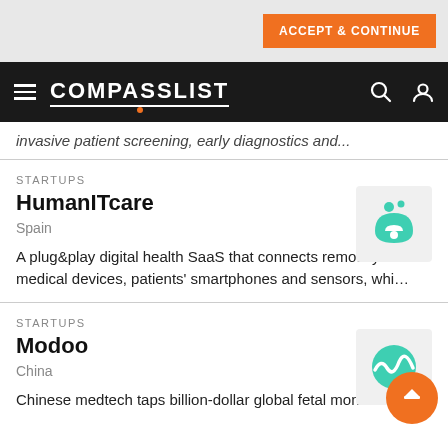ACCEPT & CONTINUE
COMPASSLIST
invasive patient screening, early diagnostics and...
STARTUPS
HumanITcare
Spain
[Figure (logo): HumanITcare logo — teal circular icon with dots]
A plug&play digital health SaaS that connects remotely to medical devices, patients' smartphones and sensors, whi…
STARTUPS
Modoo
China
[Figure (logo): Modoo logo — teal wave/mountain icon]
Chinese medtech taps billion-dollar global fetal monitoring